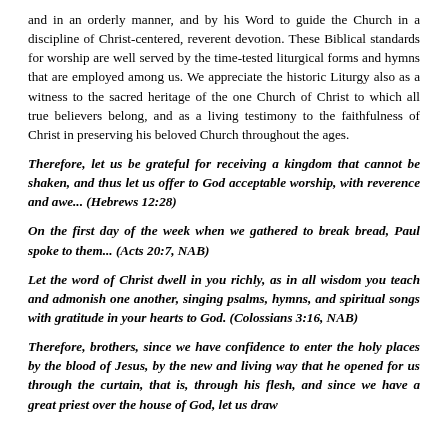and in an orderly manner, and by his Word to guide the Church in a discipline of Christ-centered, reverent devotion. These Biblical standards for worship are well served by the time-tested liturgical forms and hymns that are employed among us. We appreciate the historic Liturgy also as a witness to the sacred heritage of the one Church of Christ to which all true believers belong, and as a living testimony to the faithfulness of Christ in preserving his beloved Church throughout the ages.
Therefore, let us be grateful for receiving a kingdom that cannot be shaken, and thus let us offer to God acceptable worship, with reverence and awe... (Hebrews 12:28)
On the first day of the week when we gathered to break bread, Paul spoke to them... (Acts 20:7, NAB)
Let the word of Christ dwell in you richly, as in all wisdom you teach and admonish one another, singing psalms, hymns, and spiritual songs with gratitude in your hearts to God. (Colossians 3:16, NAB)
Therefore, brothers, since we have confidence to enter the holy places by the blood of Jesus, by the new and living way that he opened for us through the curtain, that is, through his flesh, and since we have a great priest over the house of God, let us draw